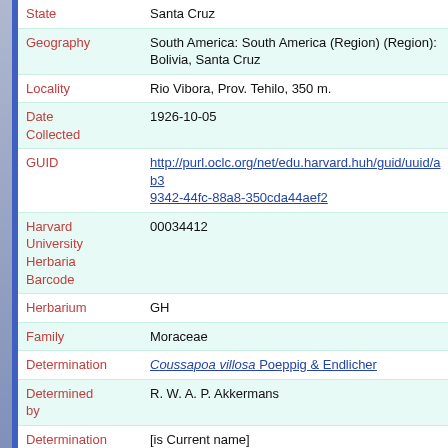| Field | Value |
| --- | --- |
| State | Santa Cruz |
| Geography | South America: South America (Region) (Region): Bolivia, Santa Cruz |
| Locality | Rio Vibora, Prov. Tehilo, 350 m. |
| Date Collected | 1926-10-05 |
| GUID | http://purl.oclc.org/net/edu.harvard.huh/guid/uuid/ab3...9342-44fc-88a8-350cda44aef2 |
| Harvard University Herbaria Barcode | 00034412 |
| Herbarium | GH |
| Family | Moraceae |
| Determination | Coussapoa villosa Poeppig & Endlicher |
| Determined by | R. W. A. P. Akkermans |
| Determination Remarks | [is Current name] |
| Family | Moraceae |
| Type Status | Isotype |
| Isotype of | Coussapoa boliviana Standley |